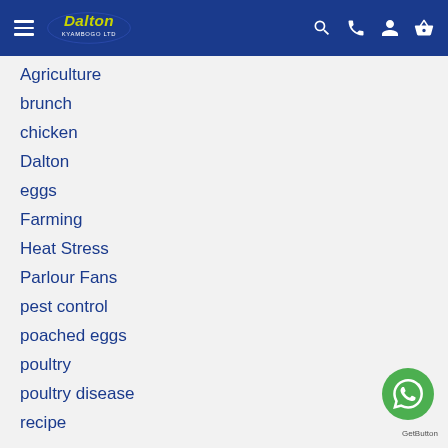Dalton Kyambogo Ltd — navigation header with logo, hamburger menu, search, phone, user, and cart icons
Agriculture
brunch
chicken
Dalton
eggs
Farming
Heat Stress
Parlour Fans
pest control
poached eggs
poultry
poultry disease
recipe